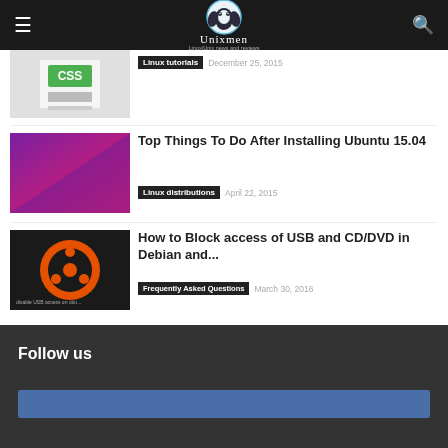Unixmen — Linux/Unix news and reviews
[Figure (screenshot): Thumbnail for Linux tutorials article (green icon on gray background)]
Linux tutorials   December 25, 2015
[Figure (screenshot): Thumbnail for Top Things To Do After Installing Ubuntu 15.04 (purple/magenta gradient)]
Top Things To Do After Installing Ubuntu 15.04
Linux distributions   April 22, 2015
[Figure (screenshot): Thumbnail for How to Block access of USB and CD/DVD in Debian (orange Ubuntu logo on black background)]
How to Block access of USB and CD/DVD in Debian and...
Frequently Asked Questions   March 30, 2016
Follow us